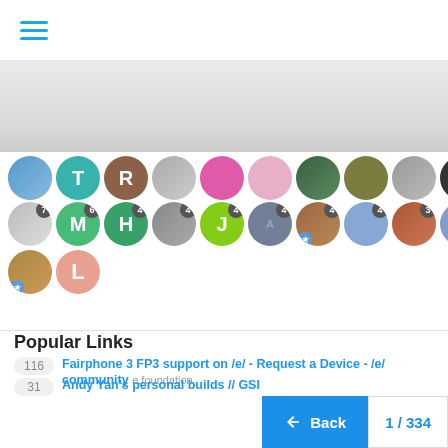Navigation menu icon (hamburger)
[Figure (illustration): Row of user avatar circles with post count badges — top row (blurred/faded background area) and second row showing avatars with letters M, H, J, A (arch linux), photo, blue circle, mushroom photo, J, person photo with numbers 6,4,4,4,4,4,3,2,2 and a 7-badge glass avatar on left. Third row shows a photo avatar with star badge and a salmon L avatar.]
Popular Links
116  Fairphone 3 FP3 support on /e/ - Request a Device - /e/ community  e.foundation
70  *** New Device Forum Requests *** - Post #23689  xda-developers.com
48  How to root the Fairphone 3?  fairphone.com
34  Fairphone_FP3_8901.2.A.0105.20191212-user-release-keys.zip | by k4y0z for Ge
31  Andy Yan's personal builds // GSI
1 / 334